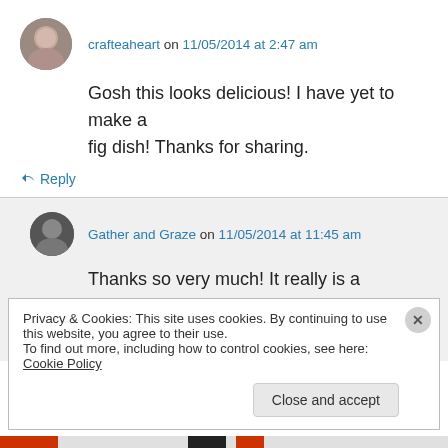crafteaheart on 11/05/2014 at 2:47 am
Gosh this looks delicious! I have yet to make a fig dish! Thanks for sharing.
↳ Reply
Gather and Graze on 11/05/2014 at 11:45 am
Thanks so very much! It really is a delicious way of preparing figs and walnuts when
Privacy & Cookies: This site uses cookies. By continuing to use this website, you agree to their use. To find out more, including how to control cookies, see here: Cookie Policy
Close and accept